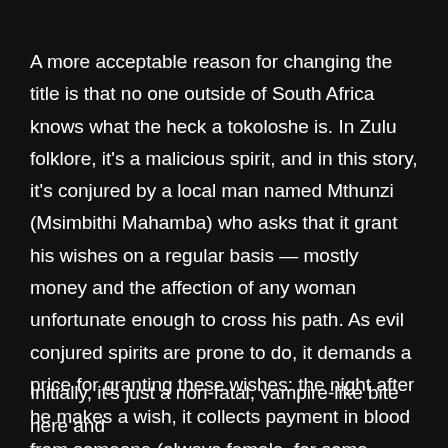A more acceptable reason for changing the title is that no one outside of South Africa knows what the heck a tokoloshe is. In Zulu folklore, it's a malicious spirit, and in this story, it's conjured by a local man named Mthunzi (Msimbithi Mahamba) who asks that it grant his wishes on a regular basis — mostly money and the affection of any woman unfortunate enough to cross his path. As evil conjured spirits are prone to do, it demands a price for granting these wishes: the night after he makes a wish, it collects payment in blood from someone (always female, for some patriarchal reason) in his township.
Initially, it's just a non-fatal, vampire-like bite here and